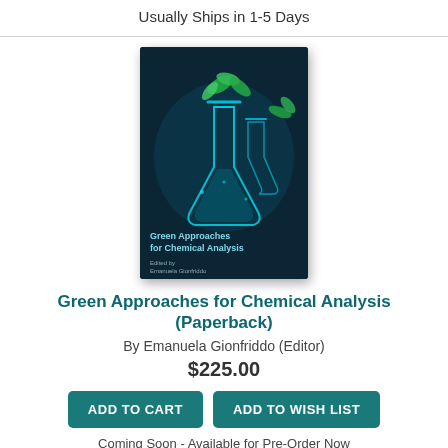Usually Ships in 1-5 Days
[Figure (photo): Book cover of Green Approaches for Chemical Analysis showing glowing teal laboratory flasks with green leaves on a dark background]
Green Approaches for Chemical Analysis (Paperback)
By Emanuela Gionfriddo (Editor)
$225.00
ADD TO CART
ADD TO WISH LIST
Coming Soon - Available for Pre-Order Now
[Figure (photo): Partial book cover showing red artistic illustration on white background, bottom of page]